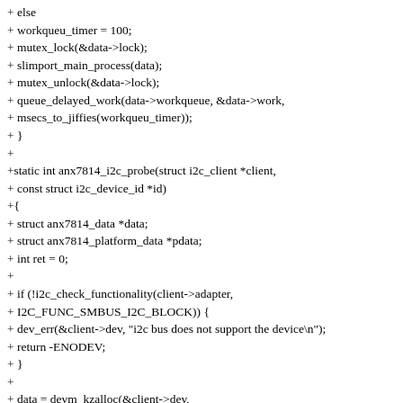+ else
+ workqueu_timer = 100;
+ mutex_lock(&data->lock);
+ slimport_main_process(data);
+ mutex_unlock(&data->lock);
+ queue_delayed_work(data->workqueue, &data->work,
+ msecs_to_jiffies(workqueu_timer));
+ }
+
+static int anx7814_i2c_probe(struct i2c_client *client,
+ const struct i2c_device_id *id)
+ {
+ struct anx7814_data *data;
+ struct anx7814_platform_data *pdata;
+ int ret = 0;
+
+ if (!i2c_check_functionality(client->adapter,
+ I2C_FUNC_SMBUS_I2C_BLOCK)) {
+ dev_err(&client->dev, "i2c bus does not support the device\n");
+ return -ENODEV;
+ }
+
+ data = devm_kzalloc(&client->dev,
+ sizeof(struct anx7814_data),
+ GFP_KERNEL);
+ if (!data)